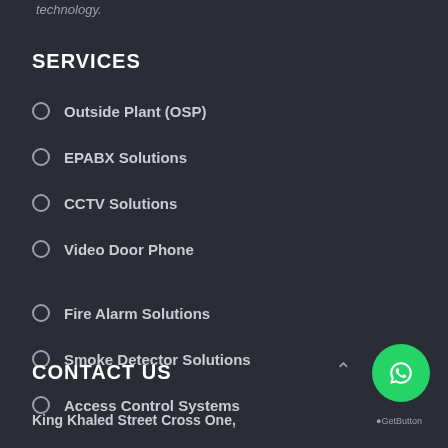technology.
SERVICES
Outside Plant (OSP)
EPABX Solutions
CCTV Solutions
Video Door Phone
Fire Alarm Solutions
Smoke Detector Solutions
Access Control Systems
CONTACT US
King Khaled Street Cross One,